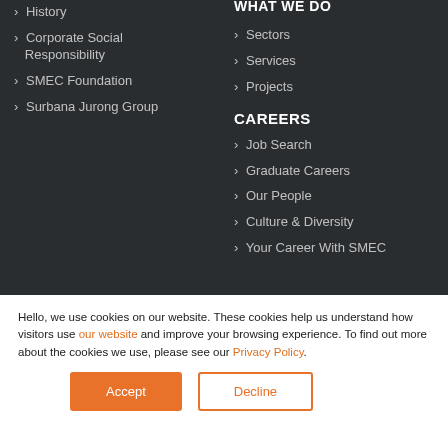> History
> Corporate Social Responsibility
> SMEC Foundation
> Surbana Jurong Group
WHAT WE DO
> Sectors
> Services
> Projects
CAREERS
> Job Search
> Graduate Careers
> Our People
> Culture & Diversity
> Your Career With SMEC
Hello, we use cookies on our website. These cookies help us understand how visitors use our website and improve your browsing experience. To find out more about the cookies we use, please see our Privacy Policy.
Accept | Decline